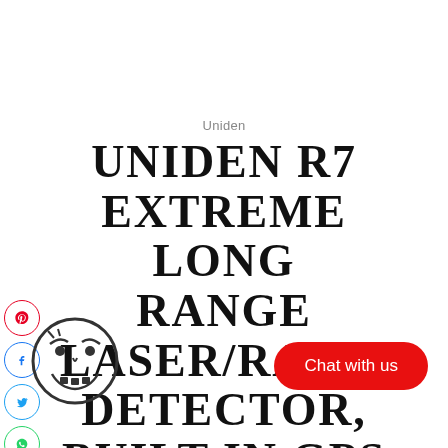Uniden
UNIDEN R7 EXTREME LONG RANGE LASER/RADAR DETECTOR, BUILT-IN GPS W/REAL-TIME ALERTS, DUAL ANTENNAS